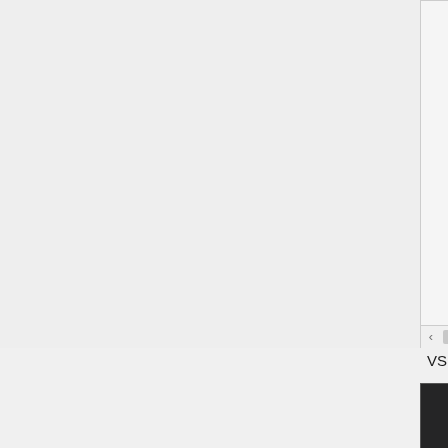[Figure (screenshot): Light-theme code editor (partial view) showing Pascal/Delphi code with line number 20, displaying class fields: TMainForm = class(TForm), StatusBar1: TStatusBar, MainMenu1: TMainMenu, File1: TMenuItem, Exit1: TMenuItem, View1: TMenuItem, NavigatorImages: TI..., NavigatorHotImages:, with a horizontal scrollbar at bottom.]
VSDark
[Figure (screenshot): Dark-theme (VSDark) code editor showing Pascal/Delphi code: 'unit Main;', 'interface', 'uses', 'Windows, Messages, Sys...', 'StdCtrls, ExtCtrls, Me...', 'ActnList, ImgList, sho...', 'const', 'CM_HOMEPAGEREQUEST = W...', 'X = 777;', 'Y = 22.0876E+5;', 'S = 'Some string';' with line number 1 and 10 marked.]